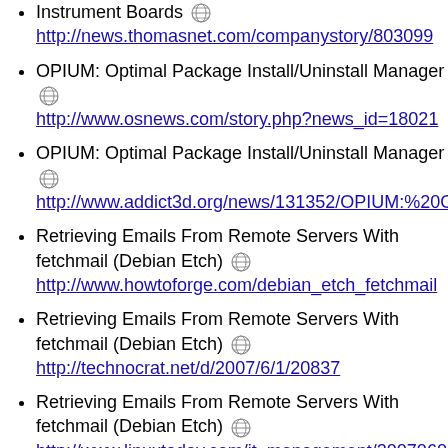Instrument Boards [globe] http://news.thomasnet.com/companystory/803099
OPIUM: Optimal Package Install/Uninstall Manager [globe] http://www.osnews.com/story.php?news_id=18021
OPIUM: Optimal Package Install/Uninstall Manager [globe] http://www.addict3d.org/news/131352/OPIUM:%20O
Retrieving Emails From Remote Servers With fetchmail (Debian Etch) [globe] http://www.howtoforge.com/debian_etch_fetchmail
Retrieving Emails From Remote Servers With fetchmail (Debian Etch) [globe] http://technocrat.net/d/2007/6/1/20837
Retrieving Emails From Remote Servers With fetchmail (Debian Etch) [globe] http://www.linuxtoday.com/it_management/20070605
Music Player Daemon rocks your net [globe]